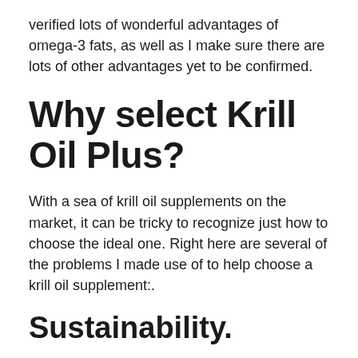verified lots of wonderful advantages of omega-3 fats, as well as I make sure there are lots of other advantages yet to be confirmed.
Why select Krill Oil Plus?
With a sea of krill oil supplements on the market, it can be tricky to recognize just how to choose the ideal one. Right here are several of the problems I made use of to help choose a krill oil supplement:.
Sustainability.
The plant is a great kinda graze and it is